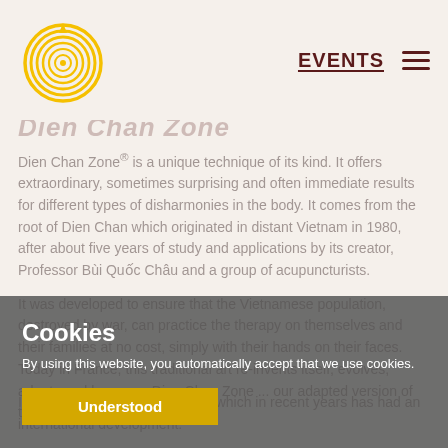EVENTS
Dien Chan Zone
Dien Chan Zone® is a unique technique of its kind. It offers extraordinary, sometimes surprising and often immediate results for different types of disharmonies in the body. It comes from the root of Dien Chan which originated in distant Vietnam in 1980, after about five years of study and applications by its creator, Professor Bùi Quốc Châu and a group of acupuncturists.
It was developed to ensure that the Vietnamese population, destroyed by war, can practice the therapy on themselves and their families at no cost, simply with their hands on their faces. Today in France, this traditional art re-invents itself, evolves, adapts and becomes Dien Chan Zone ... our adapted version of the technique.
Cookies
By using this website, you automatically accept that we use cookies.
Understood
It is the most recent reflexology which in recent years has had an international development.